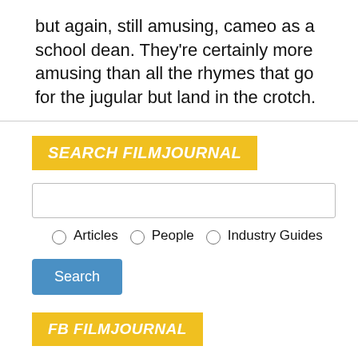but again, still amusing, cameo as a school dean. They're certainly more amusing than all the rhymes that go for the jugular but land in the crotch.
SEARCH FILMJOURNAL
[Figure (screenshot): Search form with text input, radio buttons for Articles, People, Industry Guides, and a Search button]
FB FILMJOURNAL
Film Journal International